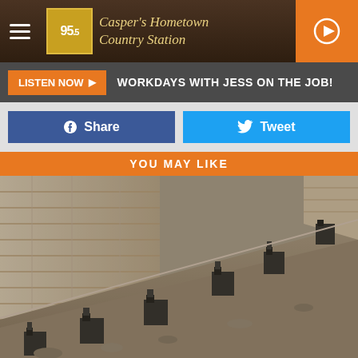95.5 Casper's Hometown Country Station
LISTEN NOW ▶  WORKDAYS WITH JESS ON THE JOB!
Share  Tweet
YOU MAY LIKE
[Figure (photo): Construction excavation site showing a large retaining wall with several black hydraulic jack devices positioned along the base of the wall, surrounded by disturbed earth and rocks. Sepia/monochrome-toned photograph.]